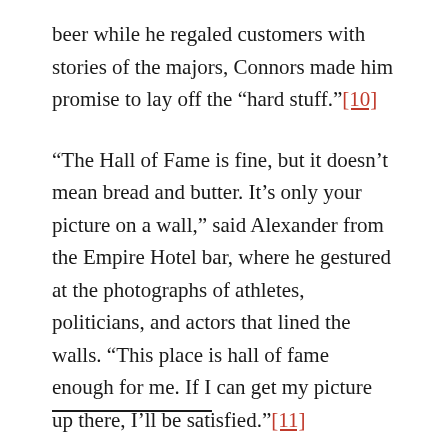beer while he regaled customers with stories of the majors, Connors made him promise to lay off the “hard stuff.”[10]
“The Hall of Fame is fine, but it doesn’t mean bread and butter. It’s only your picture on a wall,” said Alexander from the Empire Hotel bar, where he gestured at the photographs of athletes, politicians, and actors that lined the walls. “This place is hall of fame enough for me. If I can get my picture up there, I’ll be satisfied.”[11]
——